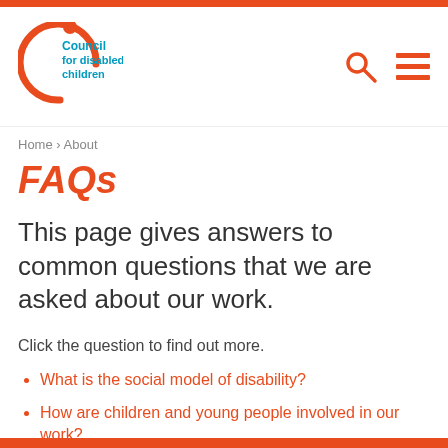[Figure (logo): Council for Disabled Children logo — orange circle with teal text]
Home › About
FAQs
This page gives answers to common questions that we are asked about our work.
Click the question to find out more.
What is the social model of disability?
How are children and young people involved in our work?